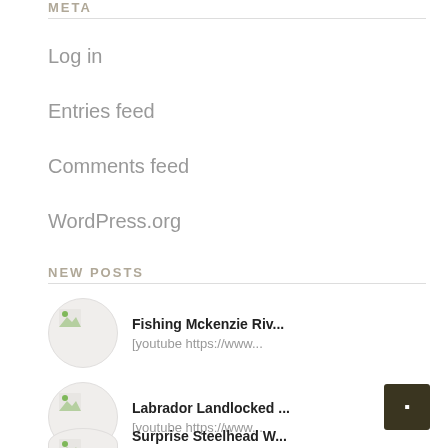META
Log in
Entries feed
Comments feed
WordPress.org
NEW POSTS
Fishing Mckenzie Riv...
[youtube https://www...
Labrador Landlocked ...
[youtube https://www...
Surprise Steelhead W...
[youtube https://www...